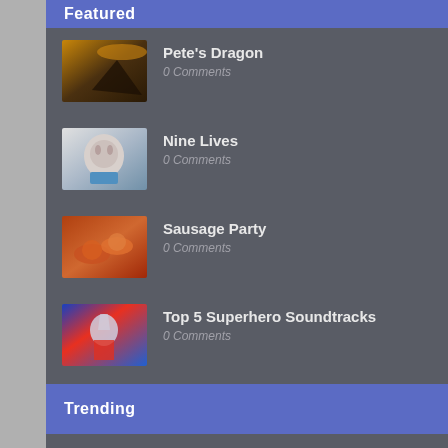Featured
Pete's Dragon
0 Comments
Nine Lives
0 Comments
Sausage Party
0 Comments
Top 5 Superhero Soundtracks
0 Comments
Trending
For a Few Dollars More: Revisited
The Do-Over